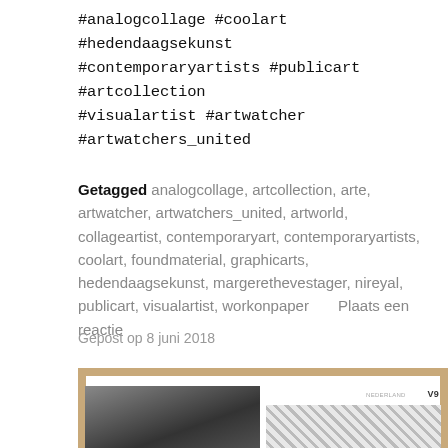#analogcollage #coolart #hedendaagsekunst #contemporaryartists #publicart #artcollection #visualartist #artwatcher #artwatchers_united
Getagged analogcollage, artcollection, arte, artwatcher, artwatchers_united, artworld, collageartist, contemporaryart, contemporaryartists, coolart, foundmaterial, graphicarts, hedendaagsekunst, margerethevestager, nireyal, publicart, visualartist, workonpaper      Plaats een reactie
Gepost op 8 juni 2018
[Figure (photo): Photo of an open booklet or zine lying on a wooden surface, showing two pages: left page has a black and white photograph, right page has diagonal striped pattern and text 'V9' in the top right corner.]